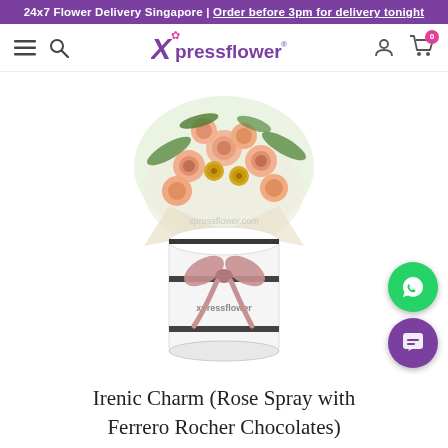24x7 Flower Delivery Singapore | Order before 3pm for delivery tonight
[Figure (logo): Xpressflower logo with stylized X and flower icon]
[Figure (photo): Product photo of Irenic Charm flower arrangement: peach/pink spray roses and Ferrero Rocher chocolates in a white cylindrical hat box with black stripes and a pink satin bow, on white background with xpressflower.com watermark]
Irenic Charm (Rose Spray with Ferrero Rocher Chocolates)